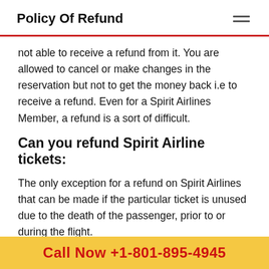Policy Of Refund
not able to receive a refund from it. You are allowed to cancel or make changes in the reservation but not to get the money back i.e to receive a refund. Even for a Spirit Airlines Member, a refund is a sort of difficult.
Can you refund Spirit Airline tickets:
The only exception for a refund on Spirit Airlines that can be made if the particular ticket is unused due to the death of the passenger, prior to or during the flight.
In this instance, a death certificate is to be submitted to the Department of Guest Relations in the form of an
Call Now +1-801-895-4945